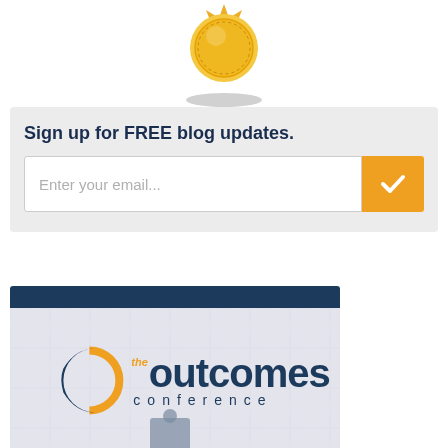[Figure (illustration): Gold badge/seal icon with shadow, partially cropped at top]
Sign up for FREE blog updates.
[Figure (other): Email signup form with text input 'Enter your email...' and orange checkmark submit button]
[Figure (logo): The Outcomes Conference logo on puzzle piece background, with navy blue header bar]